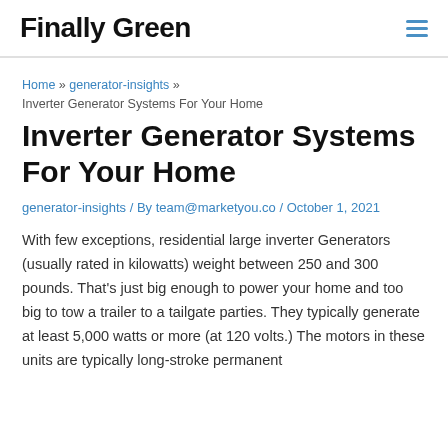Finally Green
Home » generator-insights » Inverter Generator Systems For Your Home
Inverter Generator Systems For Your Home
generator-insights / By team@marketyou.co / October 1, 2021
With few exceptions, residential large inverter Generators (usually rated in kilowatts) weight between 250 and 300 pounds. That's just big enough to power your home and too big to tow a trailer to a tailgate parties. They typically generate at least 5,000 watts or more (at 120 volts.) The motors in these units are typically long-stroke permanent